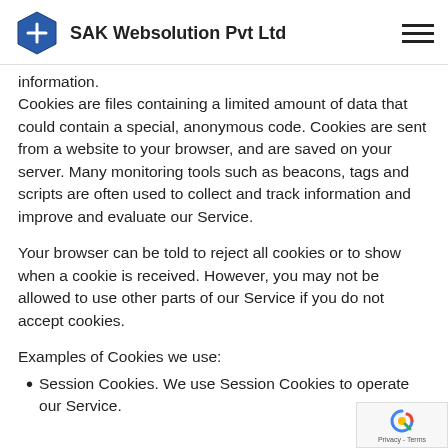SAK Websolution Pvt Ltd
information.
Cookies are files containing a limited amount of data that could contain a special, anonymous code. Cookies are sent from a website to your browser, and are saved on your server. Many monitoring tools such as beacons, tags and scripts are often used to collect and track information and improve and evaluate our Service.
Your browser can be told to reject all cookies or to show when a cookie is received. However, you may not be allowed to use other parts of our Service if you do not accept cookies.
Examples of Cookies we use:
Session Cookies. We use Session Cookies to operate our Service.